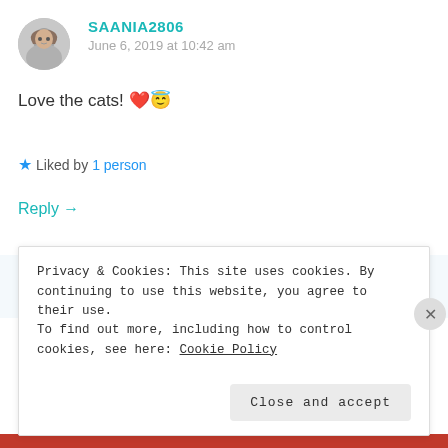[Figure (illustration): Circular avatar photo of a woman with long dark hair, used as user profile picture for SAANIA2806]
SAANIA2806
June 6, 2019 at 10:42 am
Love the cats! 💕😇
★ Liked by 1 person
Reply →
[Figure (illustration): Circular avatar photo of a cat, used as user profile picture for CORRENE SINCLAIR]
CORRENE SINCLAIR
June 6, 2019 at 1:17 pm
Privacy & Cookies: This site uses cookies. By continuing to use this website, you agree to their use.
To find out more, including how to control cookies, see here: Cookie Policy
Close and accept